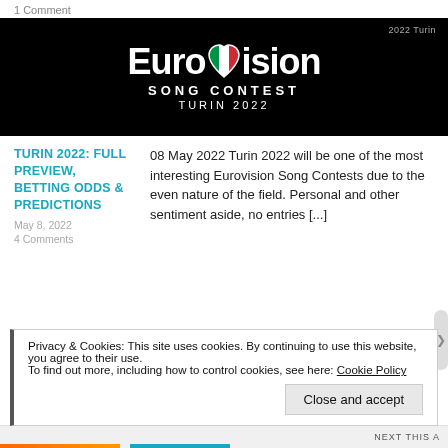1 Comment
[Figure (logo): Eurovision Song Contest Turin 2022 logo on black background with heart shaped Italian flag and stylized text. Label '2022 Turin' in top right corner.]
TURIN 2022: FULL PREVIEW, BETTING ODDS & PREDICTIONS
08 May 2022 Turin 2022 will be one of the most interesting Eurovision Song Contests due to the even nature of the field. Personal and other sentiment aside, no entries [...]
May 8, 2022
4 Comments
Privacy & Cookies: This site uses cookies. By continuing to use this website, you agree to their use. To find out more, including how to control cookies, see here: Cookie Policy
Close and accept